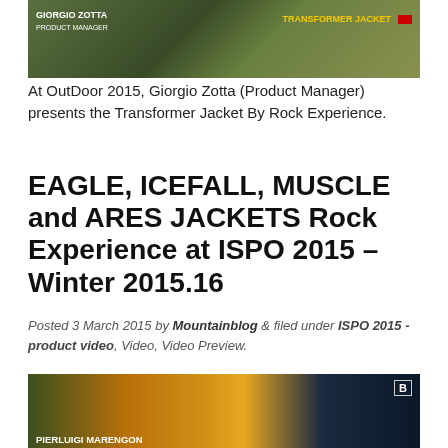[Figure (screenshot): Video screenshot showing Giorgio Zotta (Product Manager) presenting Transformer Jacket outdoors. Text overlays: 'GIORGIO ZOTTA PRODUCT MANAGER' on left, 'TRANSFORMER JACKET' on right with red rectangle.]
At OutDoor 2015, Giorgio Zotta (Product Manager) presents the Transformer Jacket By Rock Experience.
EAGLE, ICEFALL, MUSCLE and ARES JACKETS Rock Experience at ISPO 2015 – Winter 2015.16
Posted 3 March 2015 by Mountainblog & filed under ISPO 2015 - product video, Video, Video Preview.
[Figure (screenshot): Video screenshot showing Pierluigi Marengon presenting jackets at ISPO 2015. Man with curly hair wearing lime green jacket, orange jacket visible. B logo in top right corner. Name label at bottom: PIERLUIGI MARENGON.]